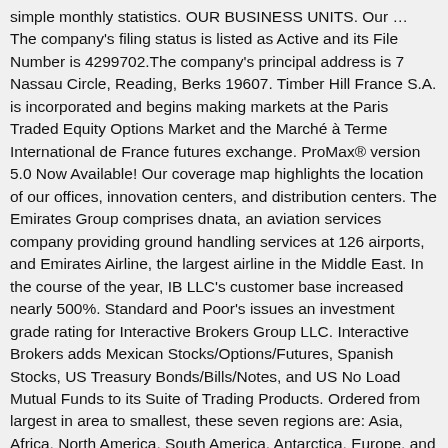simple monthly statistics. OUR BUSINESS UNITS. Our … The company's filing status is listed as Active and its File Number is 4299702.The company's principal address is 7 Nassau Circle, Reading, Berks 19607. Timber Hill France S.A. is incorporated and begins making markets at the Paris Traded Equity Options Market and the Marché à Terme International de France futures exchange. ProMax® version 5.0 Now Available! Our coverage map highlights the location of our offices, innovation centers, and distribution centers. The Emirates Group comprises dnata, an aviation services company providing ground handling services at 126 airports, and Emirates Airline, the largest airline in the Middle East. In the course of the year, IB LLC's customer base increased nearly 500%. Standard and Poor's issues an investment grade rating for Interactive Brokers Group LLC. Interactive Brokers adds Mexican Stocks/Options/Futures, Spanish Stocks, US Treasury Bonds/Bills/Notes, and US No Load Mutual Funds to its Suite of Trading Products. Ordered from largest in area to smallest, these seven regions are: Asia, Africa, North America, South America, Antarctica, Europe, and Australia. Exhausted...